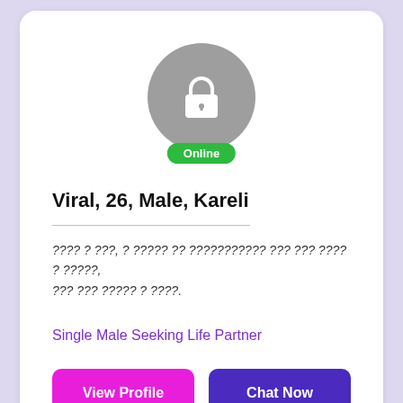[Figure (photo): Gray circular avatar with white lock icon and green 'Online' badge below]
Viral, 26, Male, Kareli
???? ? ???, ? ????? ?? ??????????? ??? ??? ???? ? ?????, ??? ??? ????? ? ????.
Single Male Seeking Life Partner
View Profile
Chat Now
[Figure (photo): Partial second profile card with gray circular avatar with white lock icon]